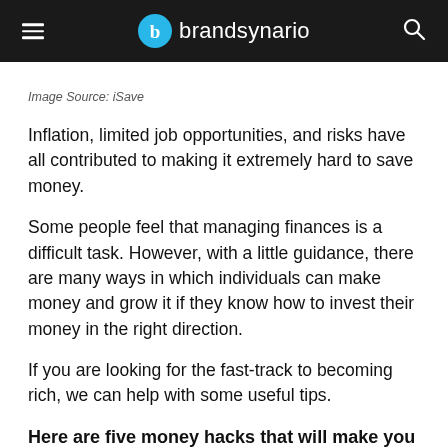brandsynario
Image Source: iSave
Inflation, limited job opportunities, and risks have all contributed to making it extremely hard to save money.
Some people feel that managing finances is a difficult task. However, with a little guidance, there are many ways in which individuals can make money and grow it if they know how to invest their money in the right direction.
If you are looking for the fast-track to becoming rich, we can help with some useful tips.
Here are five money hacks that will make you